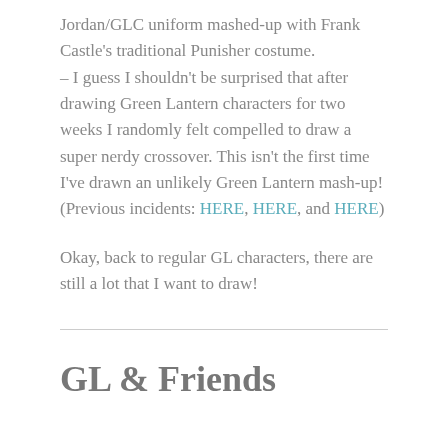Jordan/GLC uniform mashed-up with Frank Castle's traditional Punisher costume.
– I guess I shouldn't be surprised that after drawing Green Lantern characters for two weeks I randomly felt compelled to draw a super nerdy crossover. This isn't the first time I've drawn an unlikely Green Lantern mash-up! (Previous incidents: HERE, HERE, and HERE)
Okay, back to regular GL characters, there are still a lot that I want to draw!
GL & Friends